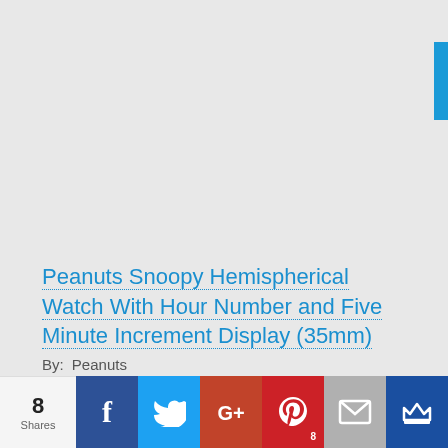[Figure (other): Blue vertical tab/button on the right edge of the page header area]
Peanuts Snoopy Hemispherical Watch With Hour Number and Five Minute Increment Display (35mm)
By:  Peanuts
[Figure (infographic): Social share bar at the bottom: 8 Shares count, Facebook, Twitter, Google+, Pinterest (8), Email, Crown/bookmark buttons]